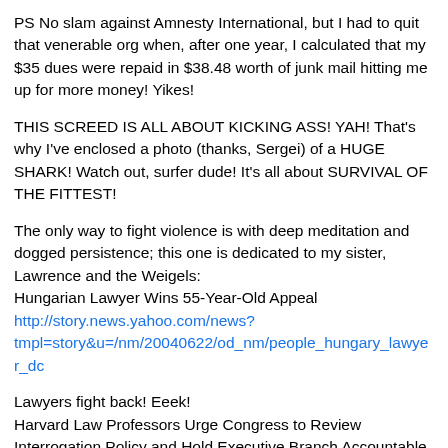PS No slam against Amnesty International, but I had to quit that venerable org when, after one year, I calculated that my $35 dues were repaid in $38.48 worth of junk mail hitting me up for more money! Yikes!
THIS SCREED IS ALL ABOUT KICKING ASS! YAH! That's why I've enclosed a photo (thanks, Sergei) of a HUGE SHARK! Watch out, surfer dude! It's all about SURVIVAL OF THE FITTEST!
The only way to fight violence is with deep meditation and dogged persistence; this one is dedicated to my sister, Lawrence and the Weigels:
Hungarian Lawyer Wins 55-Year-Old Appeal
http://story.news.yahoo.com/news?tmpl=story&u=/nm/20040622/od_nm/people_hungary_lawyer_dc
Lawyers fight back! Eeek!
Harvard Law Professors Urge Congress to Review Interrogation Policy and Hold Executive Branch Accountable